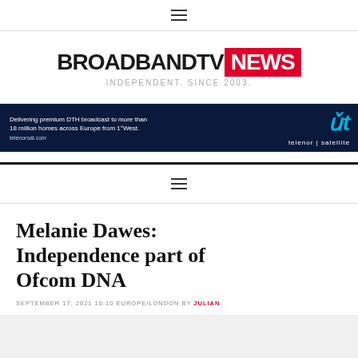☰ (hamburger menu)
[Figure (logo): BroadbandTV NEWS logo — BROADBANDTVNEWS in black and red, subtitle INDEPENDENT. SINCE 2003.]
[Figure (photo): Telenor Satellite advertisement banner — dark blue background with woman wearing headphones, text: Delivering premium DTH broadcast to more than 18 million homes across Europe from 1°West. telenorsat.com. Telenor satellite logo.]
☰ (hamburger menu)
Melanie Dawes: Independence part of Ofcom DNA
SEPTEMBER 17, 2021 10:10 EUROPE/LONDON BY JULIAN